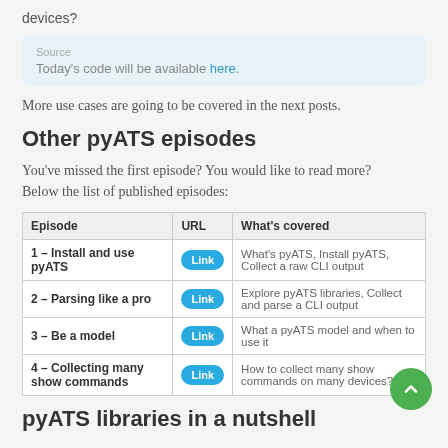devices?
Today's code will be available here.
More use cases are going to be covered in the next posts.
Other pyATS episodes
You've missed the first episode? You would like to read more? Below the list of published episodes:
| Episode | URL | What's covered |
| --- | --- | --- |
| 1 – Install and use pyATS | Link | What's pyATS, Install pyATS, Collect a raw CLI output |
| 2 – Parsing like a pro | Link | Explore pyATS libraries, Collect and parse a CLI output |
| 3 – Be a model | Link | What a pyATS model and when to use it |
| 4 – Collecting many show commands | Link | How to collect many show commands on many devices? |
pyATS libraries in a nutshell